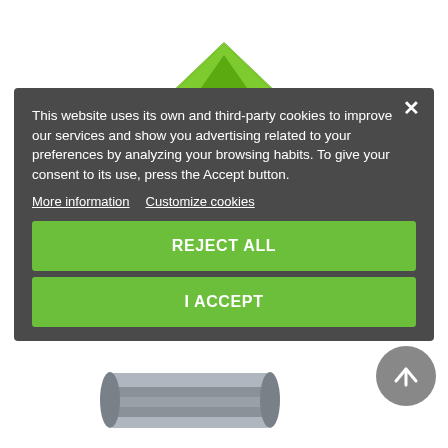[Figure (photo): Green camping tent (Nemo Dagger 3P) product photo at the top of the page]
Nemo · Dagger 3P
€569.00
This website uses its own and third-party cookies to improve our services and show you advertising related to your preferences by analyzing your browsing habits. To give your consent to its use, press the Accept button.
More information
Customize cookies
REJECT ALL
I ACCEPT
[Figure (photo): Gray folded camping mat/footprint product photo at the bottom of the page]